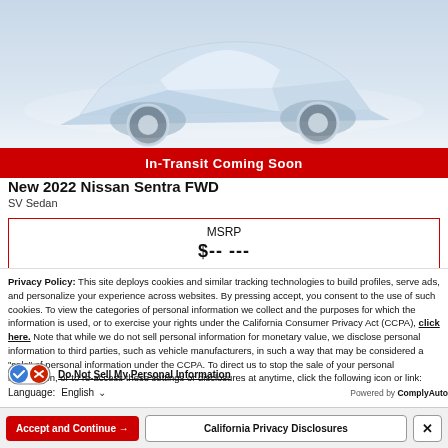[Figure (photo): Partial view of a car (Nissan Sentra) shown from above/side angle with light blue-grey background]
In-Transit Coming Soon
New 2022 Nissan Sentra FWD
SV Sedan
MSRP
Privacy Policy: This site deploys cookies and similar tracking technologies to build profiles, serve ads, and personalize your experience across websites. By pressing accept, you consent to the use of such cookies. To view the categories of personal information we collect and the purposes for which the information is used, or to exercise your rights under the California Consumer Privacy Act (CCPA), click here. Note that while we do not sell personal information for monetary value, we disclose personal information to third parties, such as vehicle manufacturers, in such a way that may be considered a "sale" of personal information under the CCPA. To direct us to stop the sale of your personal information, or to re-access these settings or disclosures at anytime, click the following icon or link:
Do Not Sell My Personal Information
Language: English
Powered by ComplyAuto
Accept and Continue →
California Privacy Disclosures
✕